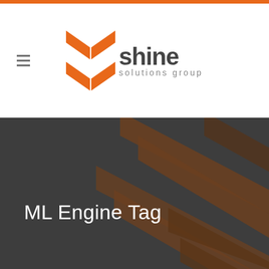[Figure (logo): Shine Solutions Group logo with orange arrow/chevron mark and grey text]
ML Engine Tag